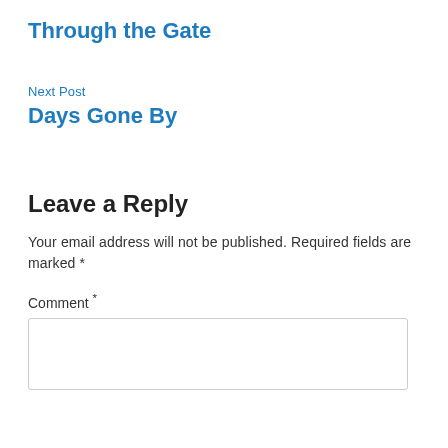Through the Gate
Next Post
Days Gone By
Leave a Reply
Your email address will not be published. Required fields are marked *
Comment *